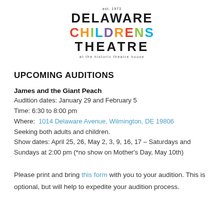[Figure (logo): Delaware Children's Theatre logo with est. 1973 text, colorful CHILDRENS text, and 'at the historic theatre house' subtitle]
UPCOMING AUDITIONS
James and the Giant Peach
Audition dates: January 29 and February 5
Time: 6:30 to 8:00 pm
Where: 1014 Delaware Avenue, Wilmington, DE 19806
Seeking both adults and children.
Show dates: April 25, 26, May 2, 3, 9, 16, 17 – Saturdays and Sundays at 2:00 pm (*no show on Mother's Day, May 10th)
Please print and bring this form with you to your audition. This is optional, but will help to expedite your audition process.